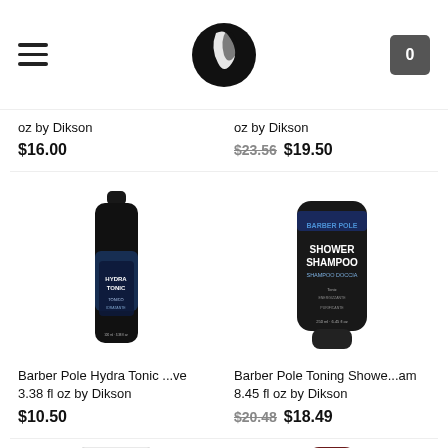Navigation header with hamburger menu, logo, and cart icon showing 0
oz by Dikson
$16.00
oz by Dikson
$23.56  $19.50
[Figure (photo): Barber Pole Hydra Tonic product bottle, tall dark blue/black bottle]
Barber Pole Hydra Tonic ...ve 3.38 fl oz by Dikson
$10.50
[Figure (photo): Barber Pole Toning Shower Shampoo tube, black tube with blue text]
Barber Pole Toning Showe...am 8.45 fl oz by Dikson
$20.48  $18.49
[Figure (photo): Dikson product in white box, partially visible at bottom]
[Figure (photo): Evergreen product tube in dark red/maroon, partially visible at bottom]